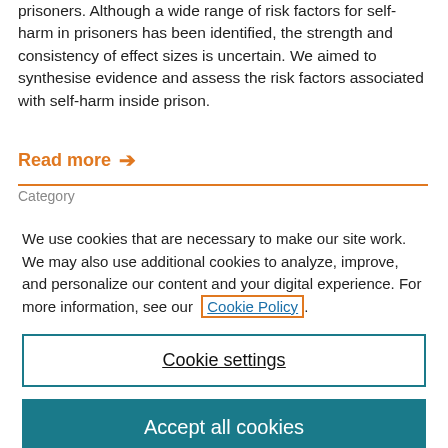prisoners. Although a wide range of risk factors for self-harm in prisoners has been identified, the strength and consistency of effect sizes is uncertain. We aimed to synthesise evidence and assess the risk factors associated with self-harm inside prison.
Read more →
Category
We use cookies that are necessary to make our site work. We may also use additional cookies to analyze, improve, and personalize our content and your digital experience. For more information, see our Cookie Policy.
Cookie settings
Accept all cookies